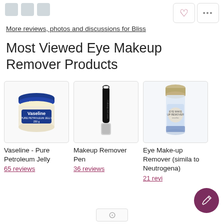More reviews, photos and discussions for Bliss
Most Viewed Eye Makeup Remover Products
[Figure (photo): Vaseline Pure Petroleum Jelly jar product image in a bordered card]
Vaseline - Pure Petroleum Jelly
65 reviews
[Figure (photo): Makeup Remover Pen product image in a bordered card]
Makeup Remover Pen
36 reviews
[Figure (photo): Eye Make-up Remover (similar to Neutrogena) bottle product image in a bordered card, partially cut off]
Eye Make-up Remover (similar to Neutrogena)
21 reviews